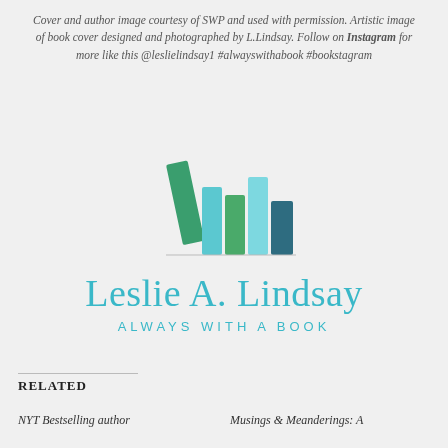Cover and author image courtesy of SWP and used with permission. Artistic image of book cover designed and photographed by L.Lindsay. Follow on Instagram for more like this @leslielindsay1 #alwayswithabook #bookstagram
[Figure (logo): Leslie A. Lindsay Always With A Book logo: colorful illustrated books icon above the name 'Leslie A. Lindsay' in teal, with 'ALWAYS WITH A BOOK' in smaller teal spaced capitals below]
RELATED
NYT Bestselling author
Musings & Meanderings: A